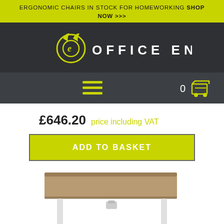ERGONOMIC CHAIRS IN STOCK FOR HOMEWORKING SHOP NOW >>>
[Figure (logo): Office Envy logo: stylized 'e' with devil horns in a circle, followed by 'OFFICE ENVY' text in white on dark background]
[Figure (screenshot): Navigation bar with hamburger menu icon (3 lime green lines) on left and shopping cart icon with '0' counter on right, on dark grey background]
£646.20 price including VAT
ADD TO BASKET
[Figure (photo): Height-adjustable standing desk with walnut/brown wood-effect top surface and white metal frame legs, viewed from a slightly elevated angle]